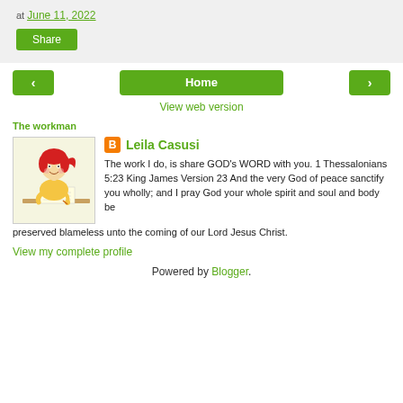at June 11, 2022
Share
< Home >
View web version
The workman
[Figure (illustration): Cartoon illustration of a young girl with red hair sitting at a desk and writing]
Leila Casusi
The work I do, is share GOD's WORD with you. 1 Thessalonians 5:23 King James Version 23 And the very God of peace sanctify you wholly; and I pray God your whole spirit and soul and body be preserved blameless unto the coming of our Lord Jesus Christ.
View my complete profile
Powered by Blogger.